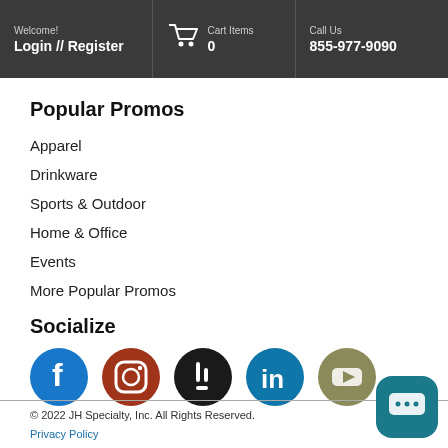Welcome! Login // Register | Cart Items 0 | Call Us 855-977-9090
Popular Promos
Apparel
Drinkware
Sports & Outdoor
Home & Office
Events
More Popular Promos
Socialize
[Figure (illustration): Social media icons: Facebook (blue), Instagram (red-brown), a dark app icon, LinkedIn (blue), YouTube (olive/gray)]
© 2022 JH Specialty, Inc. All Rights Reserved.
Privacy Policy